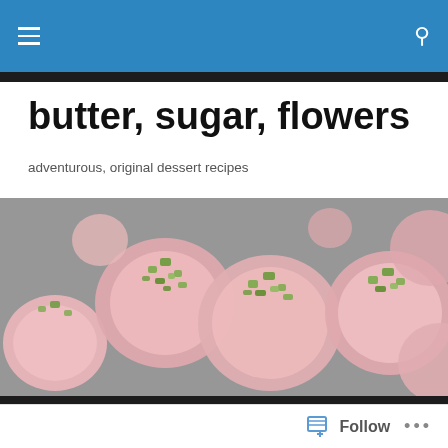butter, sugar, flowers — navigation header with hamburger menu and search icon
butter, sugar, flowers
adventurous, original dessert recipes
[Figure (photo): Overhead photograph of pink meringue cookies topped with chopped green pistachios on a grey surface]
TAGGED WITH HOLIDAYS
Egg Nog Cream Pie with Gingersnap Crust
Follow  •••